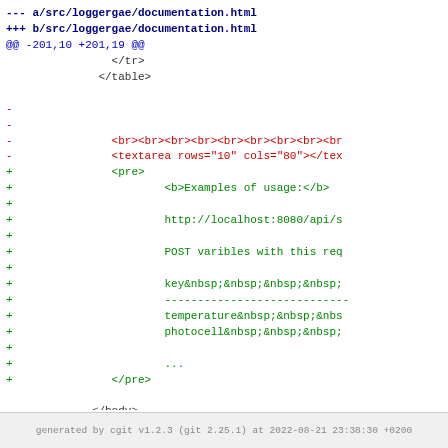--- a/src/loggergae/documentation.html
+++ b/src/loggergae/documentation.html
@@ -201,10 +201,19 @@
                </tr>
               </table>

-
-
-               <br><br><br><br><br><br><br><br><br
-               <textarea rows="10" cols="80"></tex
+               <pre>
+                       <b>Examples of usage:</b>
+
+                       http://localhost:8080/api/s
+
+                       POST varibles with this req
+
+                       key&nbsp;&nbsp;&nbsp;&nbsp;
+                       ----------------------------
+                       temperature&nbsp;&nbsp;&nbs
+                       photocell&nbsp;&nbsp;&nbsp;
+
+                       ...
+               </pre>

              </body>
generated by cgit v1.2.3 (git 2.25.1) at 2022-08-21 23:38:30 +0200